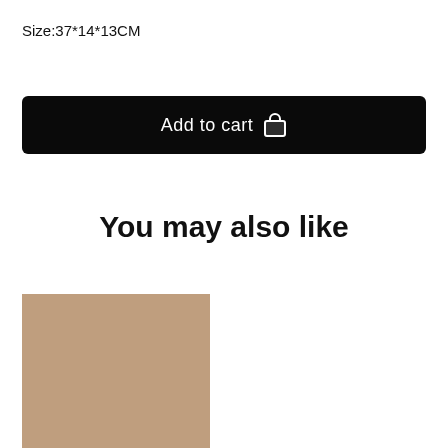Size:37*14*13CM
Add to cart
You may also like
[Figure (photo): Product image placeholder in tan/beige color]